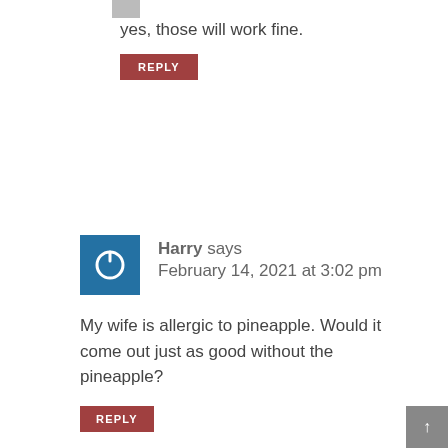yes, those will work fine.
REPLY
[Figure (illustration): Harry avatar - blue square with white power/circle icon]
Harry says
February 14, 2021 at 3:02 pm
My wife is allergic to pineapple. Would it come out just as good without the pineapple?
REPLY